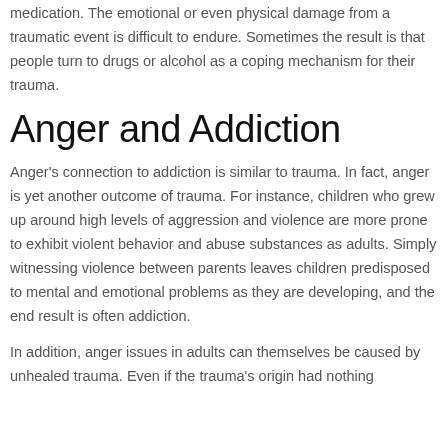medication. The emotional or even physical damage from a traumatic event is difficult to endure. Sometimes the result is that people turn to drugs or alcohol as a coping mechanism for their trauma.
Anger and Addiction
Anger's connection to addiction is similar to trauma. In fact, anger is yet another outcome of trauma. For instance, children who grew up around high levels of aggression and violence are more prone to exhibit violent behavior and abuse substances as adults. Simply witnessing violence between parents leaves children predisposed to mental and emotional problems as they are developing, and the end result is often addiction.
In addition, anger issues in adults can themselves be caused by unhealed trauma. Even if the trauma's origin had nothing